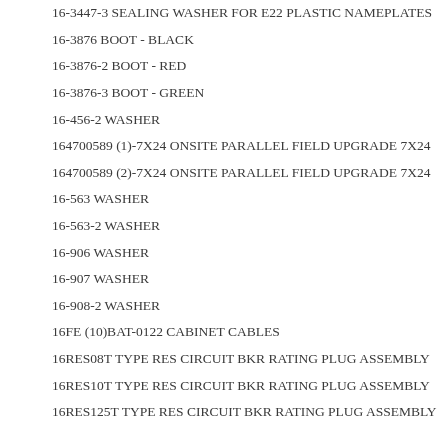16-3447-3 SEALING WASHER FOR E22 PLASTIC NAMEPLATES
16-3876 BOOT - BLACK
16-3876-2 BOOT - RED
16-3876-3 BOOT - GREEN
16-456-2 WASHER
164700589 (1)-7X24 ONSITE PARALLEL FIELD UPGRADE 7X24
164700589 (2)-7X24 ONSITE PARALLEL FIELD UPGRADE 7X24
16-563 WASHER
16-563-2 WASHER
16-906 WASHER
16-907 WASHER
16-908-2 WASHER
16FE (10)BAT-0122 CABINET CABLES
16RES08T TYPE RES CIRCUIT BKR RATING PLUG ASSEMBLY
16RES10T TYPE RES CIRCUIT BKR RATING PLUG ASSEMBLY
16RES125T TYPE RES CIRCUIT BKR RATING PLUG ASSEMBLY